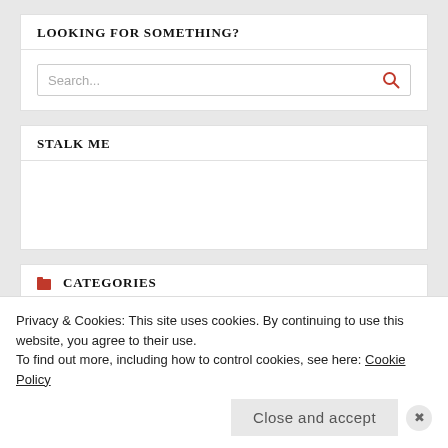LOOKING FOR SOMETHING?
[Figure (screenshot): Search input box with placeholder text 'Search...' and a red search icon on the right]
STALK ME
CATEGORIES
[Figure (screenshot): Dropdown select element with 'Select Category' placeholder and a dropdown arrow]
Privacy & Cookies: This site uses cookies. By continuing to use this website, you agree to their use.
To find out more, including how to control cookies, see here: Cookie Policy
Close and accept